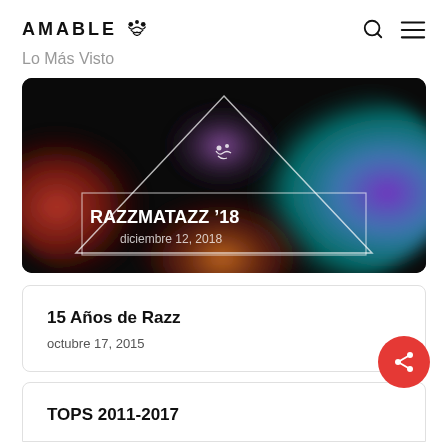AMABLE [logo icon]
Lo Más Visto
[Figure (photo): Dark background with colorful smoke/powder explosion in purple, blue, red and orange hues. Geometric triangle outline and rectangle outline overlaid. White text reads RAZZMATAZZ '18 and diciembre 12, 2018]
15 Años de Razz
octubre 17, 2015
TOPS 2011-2017